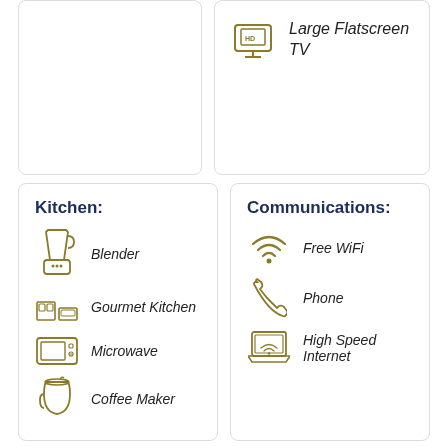[Figure (illustration): Top left card - empty/partial content area]
Large Flatscreen TV
Kitchen:
Blender
Gourmet Kitchen
Microwave
Coffee Maker
Communications:
Free WiFi
Phone
High Speed Internet
Staffing:
Daily Maid Service /